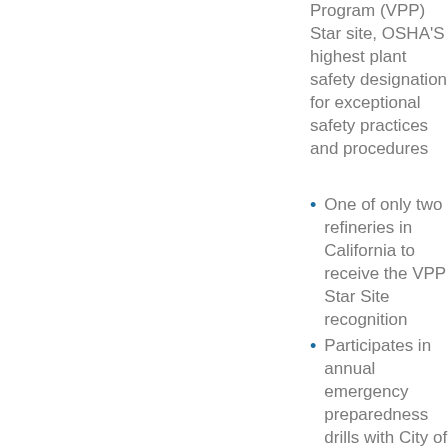Program (VPP) Star site, OSHA'S highest plant safety designation for exceptional safety practices and procedures
One of only two refineries in California to receive the VPP Star Site recognition
Participates in annual emergency preparedness drills with City of Benicia and other regulators